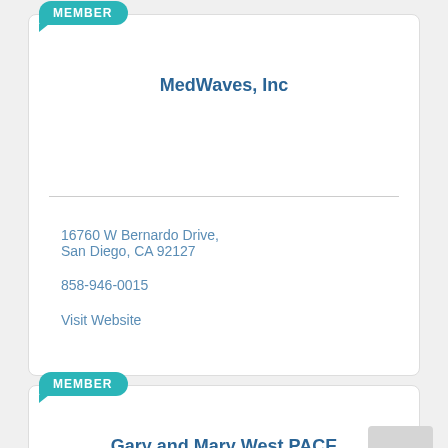MEMBER
MedWaves, Inc
16760 W Bernardo Drive, San Diego, CA 92127
858-946-0015
Visit Website
MEMBER
Gary and Mary West PACE